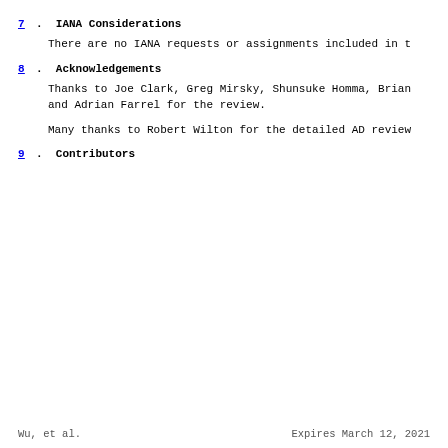7.  IANA Considerations
There are no IANA requests or assignments included in t
8.  Acknowledgements
Thanks to Joe Clark, Greg Mirsky, Shunsuke Homma, Brian
and Adrian Farrel for the review.
Many thanks to Robert Wilton for the detailed AD review
9.  Contributors
Wu, et al.                 Expires March 12, 2021